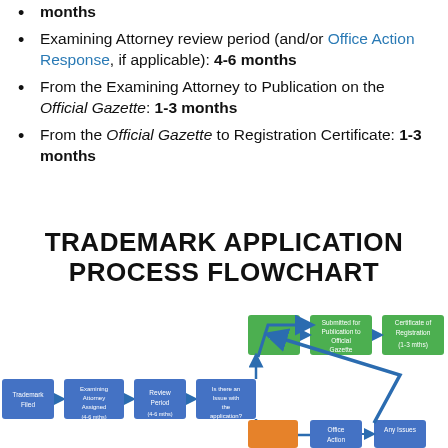months
Examining Attorney review period (and/or Office Action Response, if applicable): 4-6 months
From the Examining Attorney to Publication on the Official Gazette: 1-3 months
From the Official Gazette to Registration Certificate: 1-3 months
TRADEMARK APPLICATION PROCESS FLOWCHART
[Figure (flowchart): Trademark application process flowchart showing steps from Trademark Filed through Examining Attorney Assigned (4-6 mths), Review Period (4-6 mths), Is there an Issue with the application?, then branching: No leads to Submitted for Publication to Official Gazette (1-3 mths) then Certificate of Registration (1-3 mths); Yes leads to Office Action then Any Issues box (blue arrow back up).]